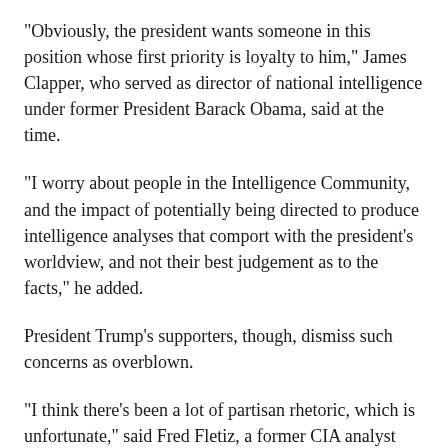"Obviously, the president wants someone in this position whose first priority is loyalty to him," James Clapper, who served as director of national intelligence under former President Barack Obama, said at the time.
"I worry about people in the Intelligence Community, and the impact of potentially being directed to produce intelligence analyses that comport with the president's worldview, and not their best judgement as to the facts," he added.
President Trump's supporters, though, dismiss such concerns as overblown.
"I think there's been a lot of partisan rhetoric, which is unfortunate," said Fred Fletiz, a former CIA analyst who now heads the Center for Security Policy.
"The job of the ODNI [Office of the Director of National